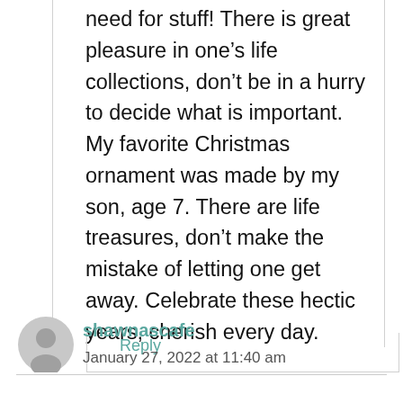need for stuff! There is great pleasure in one's life collections, don't be in a hurry to decide what is important. My favorite Christmas ornament was made by my son, age 7. There are life treasures, don't make the mistake of letting one get away. Celebrate these hectic years, cherish every day.
Reply
shawnascafe
January 27, 2022 at 11:40 am